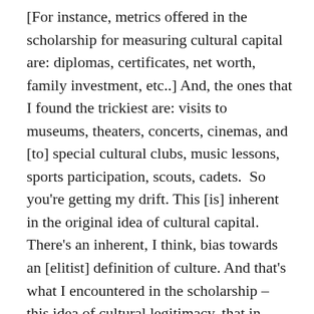[For instance, metrics offered in the scholarship for measuring cultural capital are: diplomas, certificates, net worth, family investment, etc..] And, the ones that I found the trickiest are: visits to museums, theaters, concerts, cinemas, and [to] special cultural clubs, music lessons, sports participation, scouts, cadets.  So you're getting my drift. This [is] inherent in the original idea of cultural capital. There's an inherent, I think, bias towards an [elitist] definition of culture. And that's what I encountered in the scholarship – this idea of cultural legitimacy, that in order for that culture in essence to even be worthy of measuring, you have to be viewed as legitimate, and then you get into this cycle of legitimacy being based on these factors that assume that you